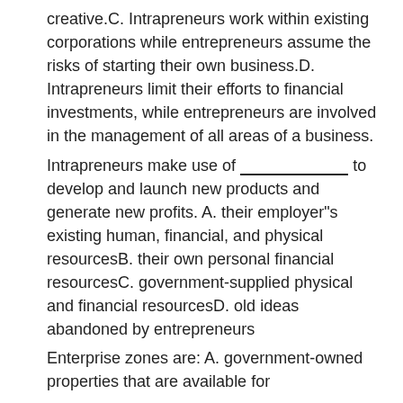creative.C. Intrapreneurs work within existing corporations while entrepreneurs assume the risks of starting their own business.D. Intrapreneurs limit their efforts to financial investments, while entrepreneurs are involved in the management of all areas of a business.
Intrapreneurs make use of __________ to develop and launch new products and generate new profits. A. their employer"s existing human, financial, and physical resourcesB. their own personal financial resourcesC. government-supplied physical and financial resourcesD. old ideas abandoned by entrepreneurs
Enterprise zones are: A. government-owned properties that are available for entrepreneurial ventures at a reduced cost.B. similar to incubator facilities but strictly run by city and state governments.C. blighted areas that contain toxic materials making them unsuitable for business